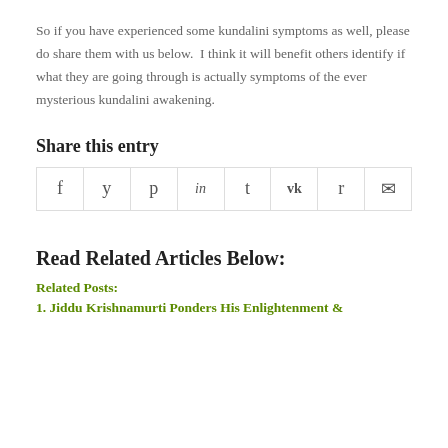So if you have experienced some kundalini symptoms as well, please do share them with us below.  I think it will benefit others identify if what they are going through is actually symptoms of the ever mysterious kundalini awakening.
Share this entry
| f | y | p | in | t | vk | reddit | mail |
| --- | --- | --- | --- | --- | --- | --- | --- |
|  |
Read Related Articles Below:
Related Posts:
1. Jiddu Krishnamurti Ponders His Enlightenment &